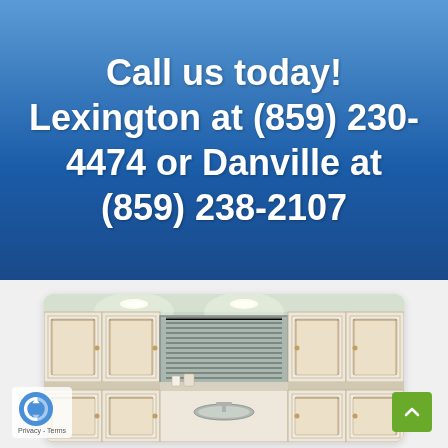Call us today! Lexington at (859) 230-4474 or Danville at (859) 238-2107
[Figure (photo): Kitchen interior with white/cream antique-style cabinets with dark glaze accents, recessed lighting, and a window with shutters above the sink area.]